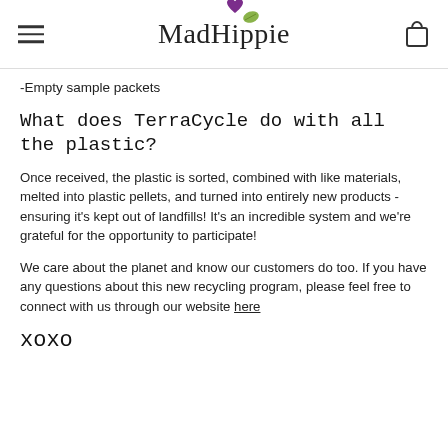MadHippie
-Empty sample packets
What does TerraCycle do with all the plastic?
Once received, the plastic is sorted, combined with like materials, melted into plastic pellets, and turned into entirely new products - ensuring it's kept out of landfills! It's an incredible system and we're grateful for the opportunity to participate!
We care about the planet and know our customers do too. If you have any questions about this new recycling program, please feel free to connect with us through our website here
xoxo